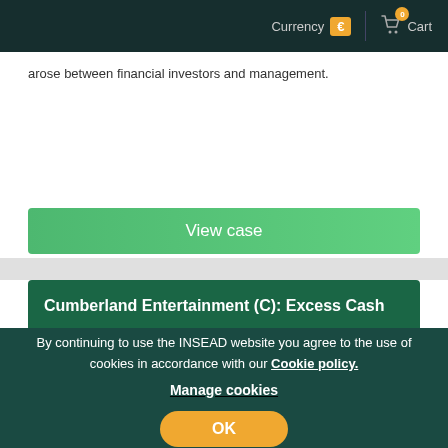Currency € | 0 Cart
arose between financial investors and management.
View case
Cumberland Entertainment (C): Excess Cash
Add to cart
By Christoph Zott, Abigail Leland   Published 01 Dec 2004   Topic Entrepreneurship   Reference 5242   Region Other Regions
By continuing to use the INSEAD website you agree to the use of cookies in accordance with our Cookie policy. Manage cookies
OK